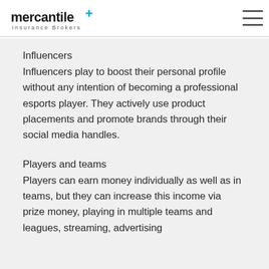[Figure (logo): Mercantile+ Insurance Brokers logo with blue plus sign]
Influencers
Influencers play to boost their personal profile without any intention of becoming a professional esports player. They actively use product placements and promote brands through their social media handles.
Players and teams
Players can earn money individually as well as in teams, but they can increase this income via prize money, playing in multiple teams and leagues, streaming, advertising